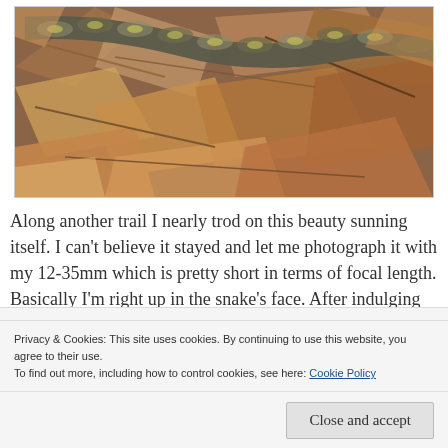[Figure (photo): Close-up photograph of a snake resting on dry leaves and twigs on the ground, viewed from above. The snake has a patterned scale texture visible.]
Along another trail I nearly trod on this beauty sunning itself. I can't believe it stayed and let me photograph it with my 12-35mm which is pretty short in terms of focal length. Basically I'm right up in the snake's face. After indulging me a few
Privacy & Cookies: This site uses cookies. By continuing to use this website, you agree to their use.
To find out more, including how to control cookies, see here: Cookie Policy
Close and accept